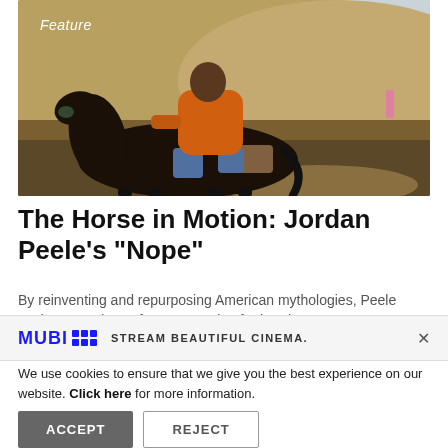[Figure (photo): A man in an orange hoodie and jeans riding a dark horse in a dry, hilly landscape. Text overlay reads 'Feature' in white italic in the upper left.]
The Horse in Motion: Jordan Peele's "Nope"
By reinventing and repurposing American mythologies, Peele pushes questions of representation further than
MUBI  STREAM BEAUTIFUL CINEMA.  ×
We use cookies to ensure that we give you the best experience on our website. Click here for more information.
ACCEPT   REJECT